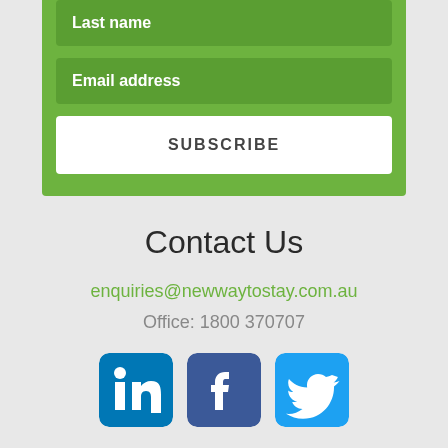Last name
Email address
SUBSCRIBE
Contact Us
enquiries@newwaytostay.com.au
Office: 1800 370707
[Figure (logo): LinkedIn, Facebook, and Twitter social media icons]